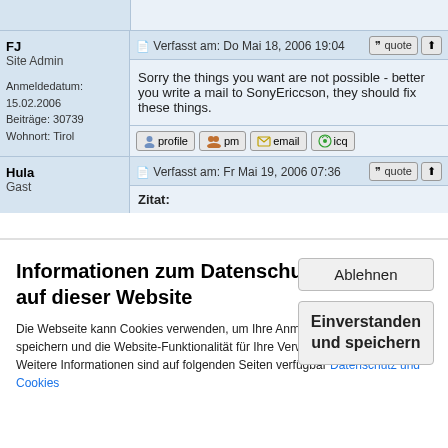| User | Post |
| --- | --- |
| FJ
Site Admin

Anmeldedatum: 15.02.2006
Beiträge: 30739
Wohnort: Tirol | Verfasst am: Do Mai 18, 2006 19:04

Sorry the things you want are not possible - better you write a mail to SonyEriccson, they should fix these things. |
| Hula
Gast | Verfasst am: Fr Mai 19, 2006 07:36

Zitat: |
Informationen zum Datenschutz auf dieser Website
Die Webseite kann Cookies verwenden, um Ihre Anmeldeinformationen zu speichern und die Website-Funktionalität für Ihre Verwendung zu optimieren. Weitere Informationen sind auf folgenden Seiten verfügbar Datenschutz und Cookies